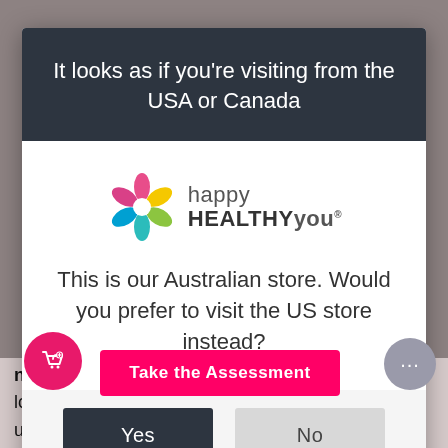[Figure (screenshot): Browser tab bar at the top of the page]
It looks as if you're visiting from the USA or Canada
[Figure (logo): Happy Healthy You logo with colorful flower graphic and brand name]
This is our Australian store. Would you prefer to visit the US store instead?
Yes
No
nd 35 days long. If your cycle is sho longer ation of an underlying imbalance that needs to be
[Figure (infographic): Pink circular shopping cart FAB button, gray chat bubble FAB button, and pink Take the Assessment CTA bar]